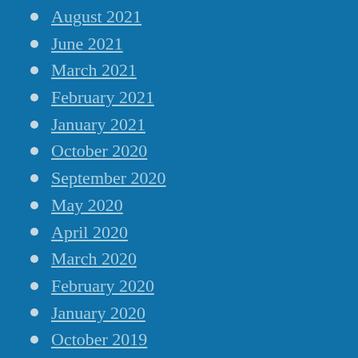August 2021
June 2021
March 2021
February 2021
January 2021
October 2020
September 2020
May 2020
April 2020
March 2020
February 2020
January 2020
October 2019
September 2019
August 2019
July 2019